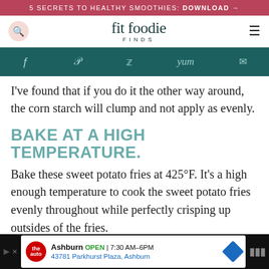5 SECRETS TO HEALTHY SMOOTHIES: DOWNLOAD →
[Figure (logo): Fit Foodie Finds website header with search icon, logo, and hamburger menu]
[Figure (infographic): Social sharing bar with Facebook, Pinterest, Twitter, Yum, and email icons on dark teal background]
I've found that if you do it the other way around, the corn starch will clump and not apply as evenly.
BAKE AT A HIGH TEMPERATURE.
Bake these sweet potato fries at 425°F. It's a high enough temperature to cook the sweet potato fries evenly throughout while perfectly crisping up outsides of the fries.
[Figure (screenshot): Advertisement banner for The Auto (Ashburn) showing location, open hours 7:30 AM–6PM, address 43781 Parkhurst Plaza Ashburn]